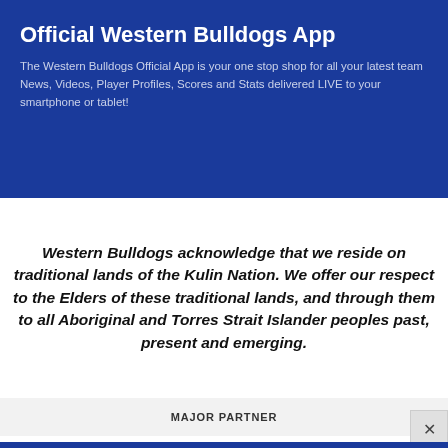Official Western Bulldogs App
The Western Bulldogs Official App is your one stop shop for all your latest team News, Videos, Player Profiles, Scores and Stats delivered LIVE to your smartphone or tablet!
Western Bulldogs acknowledge that we reside on traditional lands of the Kulin Nation. We offer our respect to the Elders of these traditional lands, and through them to all Aboriginal and Torres Strait Islander peoples past, present and emerging.
MAJOR PARTNER